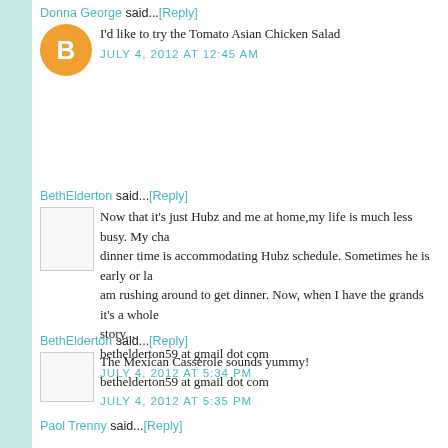Donna George said...[Reply]
I'd like to try the Tomato Asian Chicken Salad
JULY 4, 2012 AT 12:45 AM
BethElderton said...[Reply]
Now that it's just Hubz and me at home,my life is much less busy. My cha... dinner time is accommodating Hubz schedule. Sometimes he is early or la... am rushing around to get dinner. Now, when I have the grands it's a whole story...
bethelderton59 at gmail dot com
JULY 4, 2012 AT 5:34 PM
BethElderton said...[Reply]
The Mexican Casserole sounds yummy!
bethelderton59 at gmail dot com
JULY 4, 2012 AT 5:35 PM
Paol Trenny said...[Reply]
I like the halibut w/lemon herb crust - Paul Tran ..... emscout9 at Hotmail d...